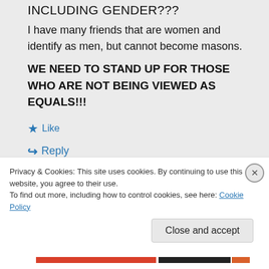INCLUDING GENDER???
I have many friends that are women and identify as men, but cannot become masons.
WE NEED TO STAND UP FOR THOSE WHO ARE NOT BEING VIEWED AS EQUALS!!!
★ Like
↪ Reply
Privacy & Cookies: This site uses cookies. By continuing to use this website, you agree to their use.
To find out more, including how to control cookies, see here: Cookie Policy
Close and accept